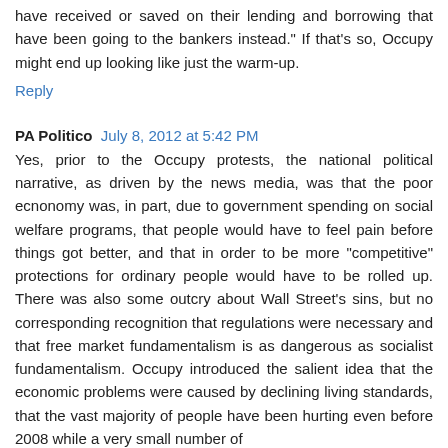have received or saved on their lending and borrowing that have been going to the bankers instead." If that's so, Occupy might end up looking like just the warm-up.
Reply
PA Politico  July 8, 2012 at 5:42 PM
Yes, prior to the Occupy protests, the national political narrative, as driven by the news media, was that the poor ecnonomy was, in part, due to government spending on social welfare programs, that people would have to feel pain before things got better, and that in order to be more "competitive" protections for ordinary people would have to be rolled up. There was also some outcry about Wall Street's sins, but no corresponding recognition that regulations were necessary and that free market fundamentalism is as dangerous as socialist fundamentalism. Occupy introduced the salient idea that the economic problems were caused by declining living standards, that the vast majority of people have been hurting even before 2008 while a very small number of